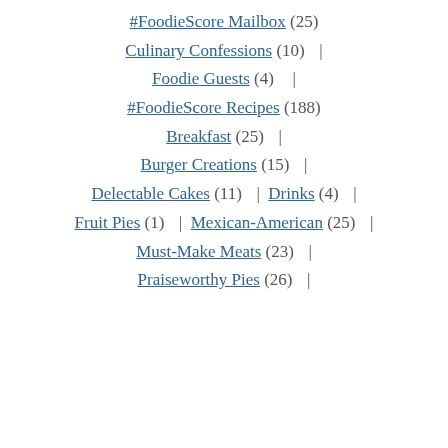#FoodieScore Mailbox (25)
Culinary Confessions (10) |
Foodie Guests (4) |
#FoodieScore Recipes (188)
Breakfast (25) |
Burger Creations (15) |
Delectable Cakes (11) | Drinks (4) |
Fruit Pies (1) | Mexican-American (25) |
Must-Make Meats (23) |
Praiseworthy Pies (26) |